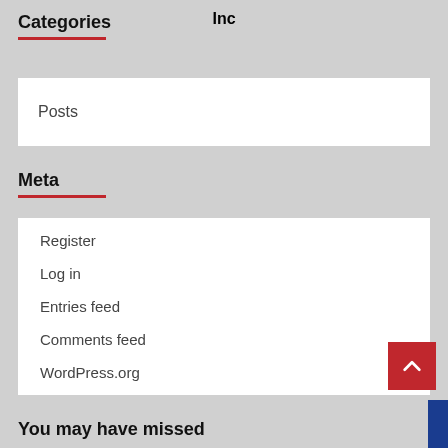Inc
Categories
Posts
Meta
Register
Log in
Entries feed
Comments feed
WordPress.org
You may have missed